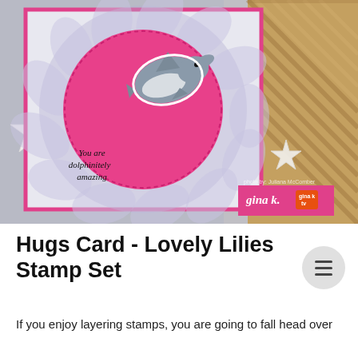[Figure (photo): A handmade greeting card featuring a cute dolphin stamp on a pink circle with the sentiment 'You are dolphinitely amazing', set on sparkly patterned paper with a hot pink border. White starfish and a wicker/basket texture are visible in the background. A Gina K. Designs logo badge appears in the lower right corner of the photo.]
Hugs Card - Lovely Lilies Stamp Set
If you enjoy layering stamps, you are going to fall head over